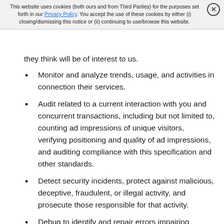This website uses cookies (both ours and from Third Parties) for the purposes set forth in our Privacy Policy. You accept the use of these cookies by either (i) closing/dismissing this notice or (ii) continuing to use/browse this website.
they think will be of interest to us.
Monitor and analyze trends, usage, and activities in connection their services.
Audit related to a current interaction with you and concurrent transactions, including but not limited to, counting ad impressions of unique visitors, verifying positioning and quality of ad impressions, and auditing compliance with this specification and other standards.
Detect security incidents, protect against malicious, deceptive, fraudulent, or illegal activity, and prosecute those responsible for that activity.
Debug to identify and repair errors impairing